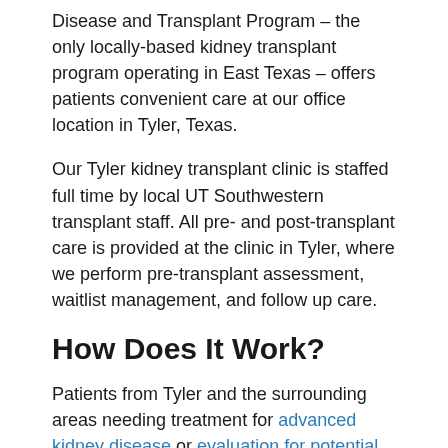Disease and Transplant Program – the only locally-based kidney transplant program operating in East Texas – offers patients convenient care at our office location in Tyler, Texas.
Our Tyler kidney transplant clinic is staffed full time by local UT Southwestern transplant staff. All pre- and post-transplant care is provided at the clinic in Tyler, where we perform pre-transplant assessment, waitlist management, and follow up care.
How Does It Work?
Patients from Tyler and the surrounding areas needing treatment for advanced kidney disease or evaluation for potential kidney transplantation can be referred to the clinic, which offers the following services: